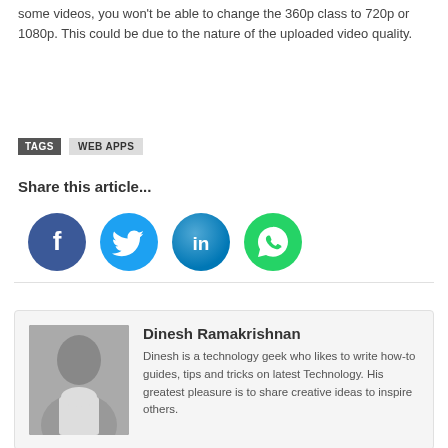some videos, you won't be able to change the 360p class to 720p or 1080p. This could be due to the nature of the uploaded video quality.
TAGS  WEB APPS
Share this article...
[Figure (illustration): Social media share icons: Facebook (dark blue circle with f), Twitter (light blue circle with bird), LinkedIn (blue circle with in), WhatsApp (green circle with phone)]
Dinesh Ramakrishnan
Dinesh is a technology geek who likes to write how-to guides, tips and tricks on latest Technology. His greatest pleasure is to share creative ideas to inspire others.